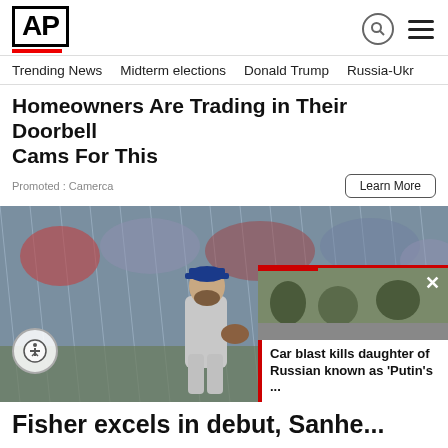AP
Trending News   Midterm elections   Donald Trump   Russia-Ukr
Homeowners Are Trading in Their Doorbell Cams For This
Promoted : Camerca
Learn More
[Figure (photo): Baseball pitcher in NY Mets uniform standing on mound in rain with crowd in background]
[Figure (photo): Military personnel crouching on street]
Car blast kills daughter of Russian known as 'Putin's ...
Fisher excels in debut, Sanhe...